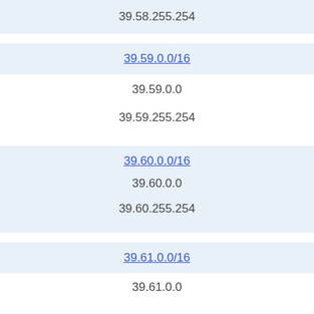39.58.255.254
39.59.0.0/16
39.59.0.0
39.59.255.254
39.60.0.0/16
39.60.0.0
39.60.255.254
39.61.0.0/16
39.61.0.0